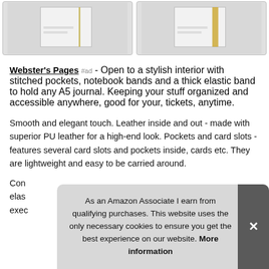[Figure (photo): Two product images of notebook/journal organizers side by side - left one appears white/cream colored, right one has a gold/yellow elastic band]
Webster's Pages #ad - Open to a stylish interior with stitched pockets, notebook bands and a thick elastic band to hold any A5 journal. Keeping your stuff organized and accessible anywhere, good for your, tickets, anytime.
Smooth and elegant touch. Leather inside and out - made with superior PU leather for a high-end look. Pockets and card slots - features several card slots and pockets inside, cards etc. They are lightweight and easy to be carried around.
Con elas exec
As an Amazon Associate I earn from qualifying purchases. This website uses the only necessary cookies to ensure you get the best experience on our website. More information